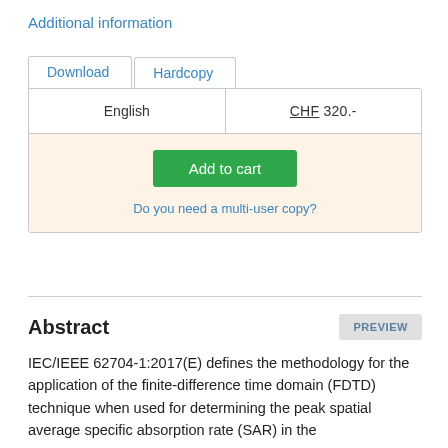Additional information
| English | CHF 320.- |
| --- | --- |
| Add to cart | Do you need a multi-user copy? |
Abstract
IEC/IEEE 62704-1:2017(E) defines the methodology for the application of the finite-difference time domain (FDTD) technique when used for determining the peak spatial average specific absorption rate (SAR) in the